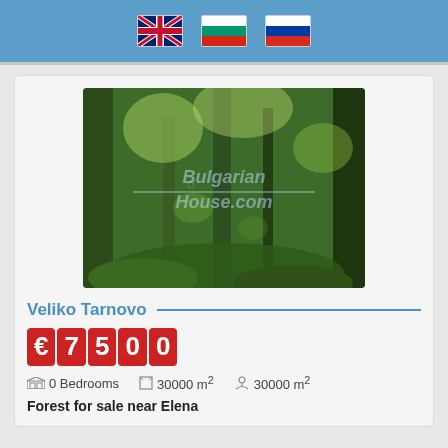[UK flag] [Bulgaria flag] [Russia flag]
[Figure (photo): Forest photo with Bulgarian-House.com watermark overlay, dense green trees and foliage]
Veliko Tarnovo
€7500
0 Bedrooms  30000 m²  30000 m²
Forest for sale near Elena